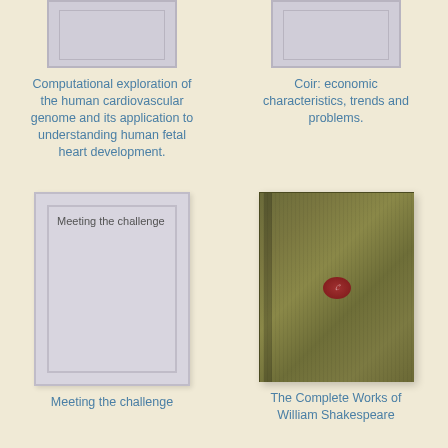[Figure (illustration): Partially visible book cover placeholder (gray) at top-left]
Computational exploration of the human cardiovascular genome and its application to understanding human fetal heart development.
[Figure (illustration): Partially visible book cover placeholder (gray) at top-right]
Coir: economic characteristics, trends and problems.
[Figure (illustration): Book placeholder with inner border, text 'Meeting the challenge']
Meeting the challenge
[Figure (photo): The Complete Works of William Shakespeare — olive green cloth book cover with red medallion stamp]
The Complete Works of William Shakespeare